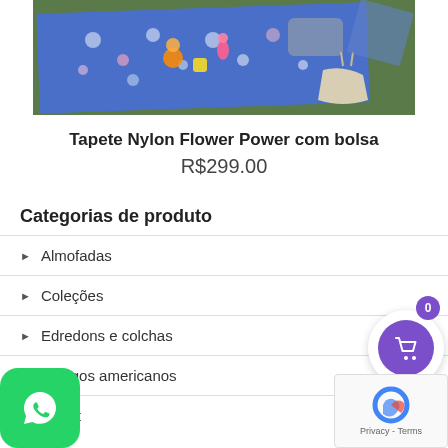[Figure (photo): A blue floral nylon mat/tapete with toys and a pillow laid out on green grass, with a bag nearby.]
Tapete Nylon Flower Power com bolsa
R$299.00
Categorias de produto
Almofadas
Coleções
Edredons e colchas
Jogos americanos
Outlet